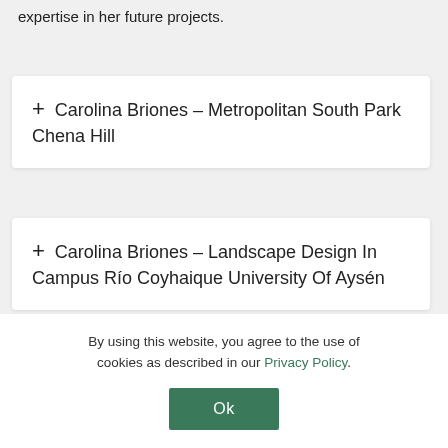expertise in her future projects.
+ Carolina Briones – Metropolitan South Park Chena Hill
+ Carolina Briones – Landscape Design In Campus Rio Coyhaique University Of Aysén
By using this website, you agree to the use of cookies as described in our Privacy Policy.
Ok